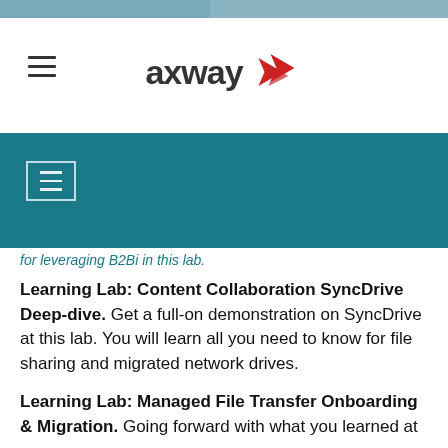axway
Learning Lab: Content Collaboration SyncDrive Deep-dive. Get a full-on demonstration on SyncDrive at this lab. You will learn all you need to know for file sharing and migrated network drives.
Learning Lab: Managed File Transfer Onboarding & Migration. Going forward with what you learned at